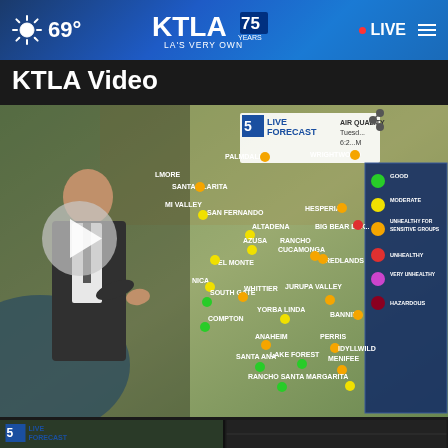69° | KTLA 75 YEARS LA'S VERY OWN | LIVE
KTLA Video
[Figure (screenshot): KTLA 5 Live Forecast video showing Southern California air quality map with colored dots over cities including Palmdale, Santa Clarita, San Fernando, Altadena, Azusa, El Monte, South Gate, Whittier, Yorba Linda, Compton, Anaheim, Santa Ana, Lake Forest, Rancho Santa Margarita, Hesperia, Big Bear Lake, Rancho Cucamonga, Redlands, Jurupa Valley, Perris, Banning, Menifee, Idyllwild. A legend shows: Good (green), Moderate (yellow), Unhealthy for Sensitive Groups (orange), Unhealthy (red), Very Unhealthy (pink/magenta), Hazardous (dark red). A play button is visible on the left side.]
[Figure (screenshot): Thumbnail of KTLA 5 Live Forecast weather video]
[Figure (screenshot): Thumbnail of dark video content]